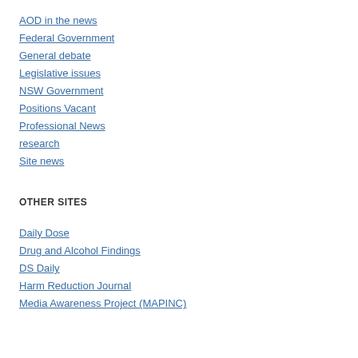AOD in the news
Federal Government
General debate
Legislative issues
NSW Government
Positions Vacant
Professional News
research
Site news
OTHER SITES
Daily Dose
Drug and Alcohol Findings
DS Daily
Harm Reduction Journal
Media Awareness Project (MAPINC)